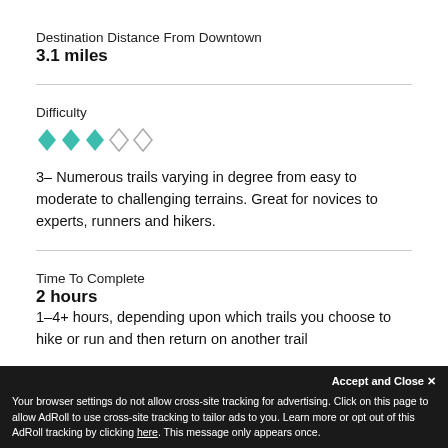Destination Distance From Downtown
3.1 miles
Difficulty
[Figure (infographic): Five diamond difficulty rating icons: three filled teal/green diamonds and two empty/outline diamonds]
3– Numerous trails varying in degree from easy to moderate to challenging terrains. Great for novices to experts, runners and hikers.
Time To Complete
2 hours
1–4+ hours, depending upon which trails you choose to hike or run and then return on another trail
Accept and Close ✕
Your browser settings do not allow cross-site tracking for advertising. Click on this page to allow AdRoll to use cross-site tracking to tailor ads to you. Learn more or opt out of this AdRoll tracking by clicking here. This message only appears once.